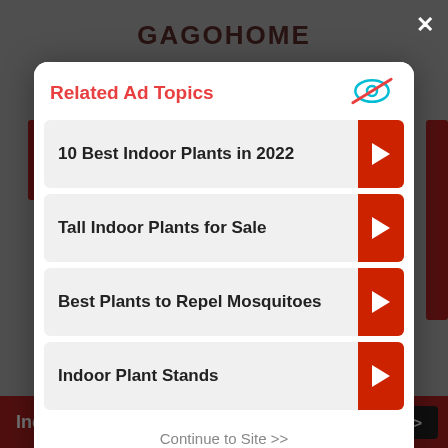GAGOHOME
[Figure (screenshot): Website screenshot background with GAGOHOME header and dark overlay]
Related Ad Topics
[Figure (logo): Ad privacy icon - eye with cross through it in blue/teal]
10 Best Indoor Plants in 2022
Tall Indoor Plants for Sale
Best Plants to Repel Mosquitoes
Indoor Plant Stands
Continue to Site >>
Indoor House Plants
See It >